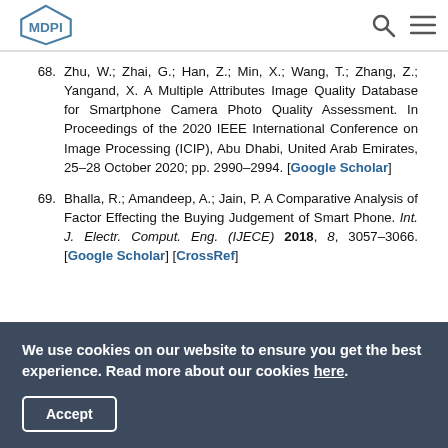MDPI
68. Zhu, W.; Zhai, G.; Han, Z.; Min, X.; Wang, T.; Zhang, Z.; Yangand, X. A Multiple Attributes Image Quality Database for Smartphone Camera Photo Quality Assessment. In Proceedings of the 2020 IEEE International Conference on Image Processing (ICIP), Abu Dhabi, United Arab Emirates, 25–28 October 2020; pp. 2990–2994. [Google Scholar]
69. Bhalla, R.; Amandeep, A.; Jain, P. A Comparative Analysis of Factor Effecting the Buying Judgement of Smart Phone. Int. J. Electr. Comput. Eng. (IJECE) 2018, 8, 3057–3066. [Google Scholar] [CrossRef]
We use cookies on our website to ensure you get the best experience. Read more about our cookies here.